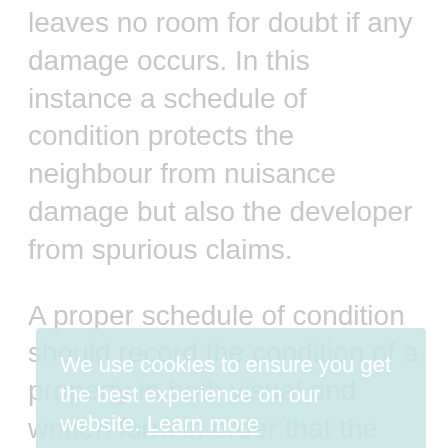leaves no room for doubt if any damage occurs. In this instance a schedule of condition protects the neighbour from nuisance damage but also the developer from spurious claims.
A proper schedule of condition should record the condition of a property in both visual and written form in order that the condition can be accurately and objectively assessed in future thus avoiding any argument where damage has occurred or condition worsened.
The availability of our unique electronic data collection, to ensure our schedules are processed as quickly as possible we make no
We use cookies to ensure you get the best experience on our website. Learn more
Got it!